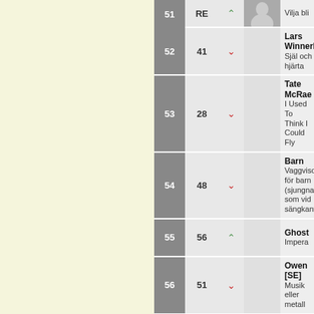51 | RE | up | Vilja bli
52 | 41 | down | Lars Winnerbäck – Själ och hjärta
53 | 28 | down | Tate McRae – I Used To Think I Could Fly
54 | 48 | down | Barn – Vaggvisor för barn (sjungna som vid sängkanten)
55 | 56 | up | Ghost – Impera
56 | 51 | down | Owen [SE] – Musik eller metall
57 | 49 | down | Ant Wan – Leylas World
58 | 60 | up | Lady Gaga – The Fame Monster
59 | RE | up | Thomas Stenström – Fulkultur
60 | Adaam